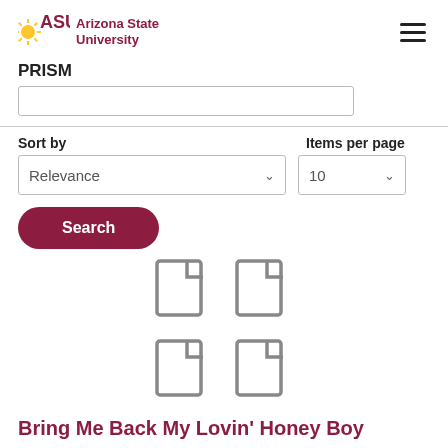ASU Arizona State University
PRISM
[Figure (screenshot): Search bar input field (partially visible)]
Sort by
Items per page
[Figure (screenshot): Relevance dropdown and Items per page dropdown (10), Search button]
[Figure (illustration): Four document/file icons arranged in a 2x2 grid]
Bring Me Back My Lovin' Honey Boy